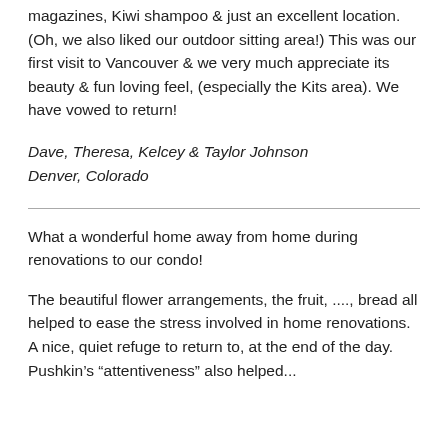magazines, Kiwi shampoo & just an excellent location. (Oh, we also liked our outdoor sitting area!) This was our first visit to Vancouver & we very much appreciate its beauty & fun loving feel, (especially the Kits area). We have vowed to return!
Dave, Theresa, Kelcey & Taylor Johnson
Denver, Colorado
What a wonderful home away from home during renovations to our condo!
The beautiful flower arrangements, the fruit, ...., bread all helped to ease the stress involved in home renovations. A nice, quiet refuge to return to, at the end of the day. Pushkin’s “attentiveness” also helped...